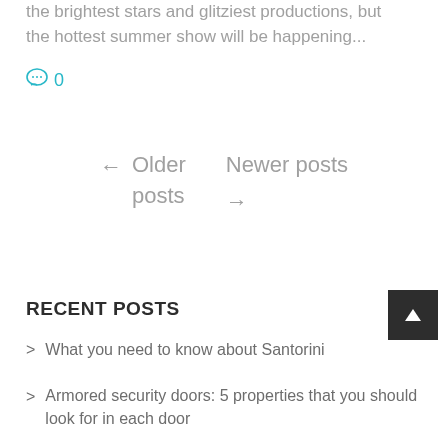the brightest stars and glitziest productions, but the hottest summer show will be happening...
0
← Older posts
Newer posts →
RECENT POSTS
What you need to know about Santorini
Armored security doors: 5 properties that you should look for in each door